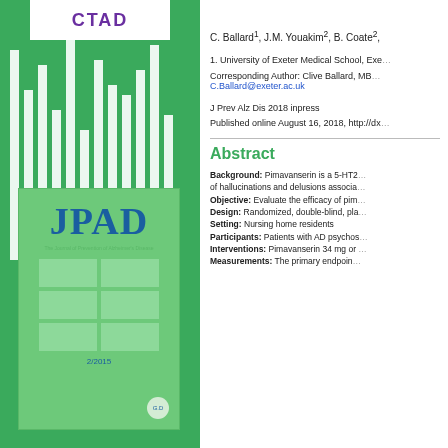[Figure (illustration): JPAD journal cover on green background with white vertical stripes and CTAD logo at top]
C. Ballard1, J.M. Youakim2, B. Coate2,
1. University of Exeter Medical School, Exe...
Corresponding Author: Clive Ballard, MB...
C.Ballard@exeter.ac.uk
J Prev Alz Dis 2018 inpress
Published online August 16, 2018, http://dx...
Abstract
Background: Pimavanserin is a 5-HT2... of hallucinations and delusions associa... Objective: Evaluate the efficacy of pim... Design: Randomized, double-blind, pla... Setting: Nursing home residents Participants: Patients with AD psychos... Interventions: Pimavanserin 34 mg or ... Measurements: The primary endpoin...